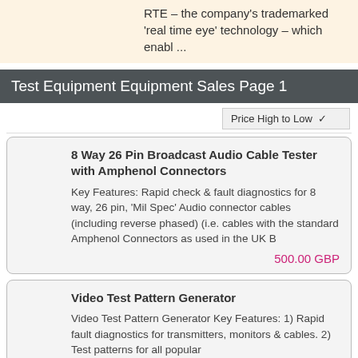RTE – the company's trademarked 'real time eye' technology – which enabl ...
Test Equipment Equipment Sales Page 1
Price High to Low
8 Way 26 Pin Broadcast Audio Cable Tester with Amphenol Connectors
Key Features: Rapid check & fault diagnostics for 8 way, 26 pin, 'Mil Spec' Audio connector cables (including reverse phased) (i.e. cables with the standard Amphenol Connectors as used in the UK B
500.00 GBP
Video Test Pattern Generator
Video Test Pattern Generator Key Features: 1) Rapid fault diagnostics for transmitters, monitors & cables. 2) Test patterns for all popular